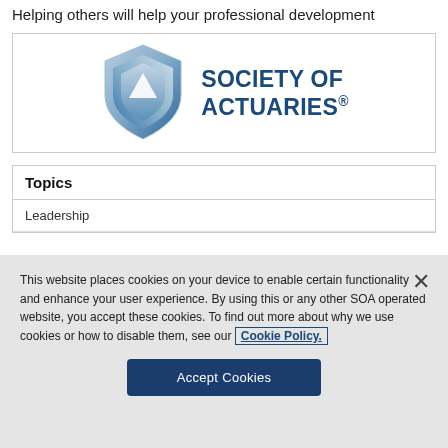Helping others will help your professional development
[Figure (logo): Society of Actuaries logo with shield icon and text 'SOCIETY OF ACTUARIES']
| Topics |
| --- |
| Leadership |
This website places cookies on your device to enable certain functionality and enhance your user experience. By using this or any other SOA operated website, you accept these cookies. To find out more about why we use cookies or how to disable them, see our Cookie Policy.
Accept Cookies